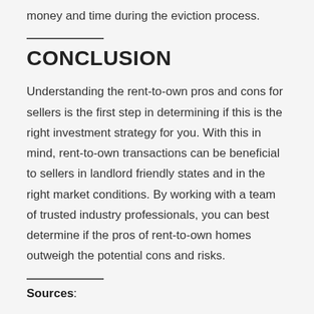money and time during the eviction process.
CONCLUSION
Understanding the rent-to-own pros and cons for sellers is the first step in determining if this is the right investment strategy for you. With this in mind, rent-to-own transactions can be beneficial to sellers in landlord friendly states and in the right market conditions. By working with a team of trusted industry professionals, you can best determine if the pros of rent-to-own homes outweigh the potential cons and risks.
Sources: